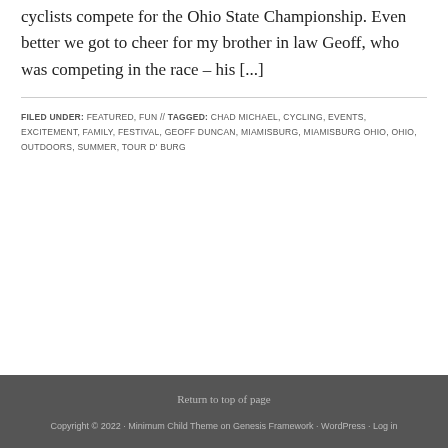cyclists compete for the Ohio State Championship. Even better we got to cheer for my brother in law Geoff, who was competing in the race – his [...]
FILED UNDER: FEATURED, FUN // TAGGED: CHAD MICHAEL, CYCLING, EVENTS, EXCITEMENT, FAMILY, FESTIVAL, GEOFF DUNCAN, MIAMISBURG, MIAMISBURG OHIO, OHIO, OUTDOORS, SUMMER, TOUR D' BURG
Return to top of page
Copyright © 2022 · Minimum Child Theme on Genesis Framework · WordPress · Log in